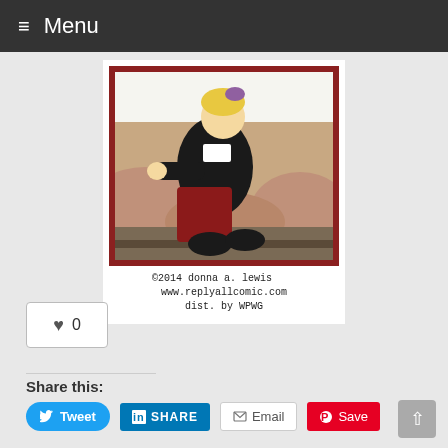≡ Menu
[Figure (illustration): Comic strip illustration showing a character in black jacket and red pants sitting/reclining, with a rocky/canyon background. Border is dark red/maroon.]
©2014 donna a. lewis  dist. by WPWG  www.replyallcomic.com
♥  0
Share this:
Tweet  SHARE  Email  Save